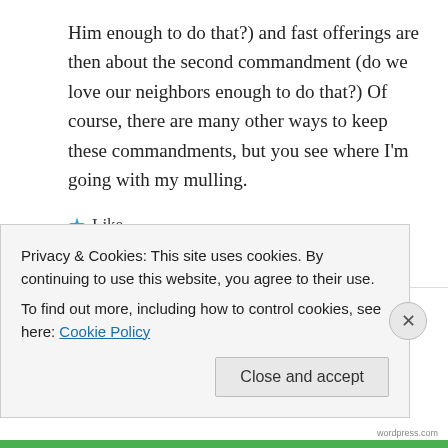Him enough to do that?) and fast offerings are then about the second commandment (do we love our neighbors enough to do that?) Of course, there are many other ways to keep these commandments, but you see where I'm going with my mulling.
★ Like
↪ Reply
Wanda on July 29, 2011 at 4:57 am
Privacy & Cookies: This site uses cookies. By continuing to use this website, you agree to their use.
To find out more, including how to control cookies, see here: Cookie Policy
Close and accept